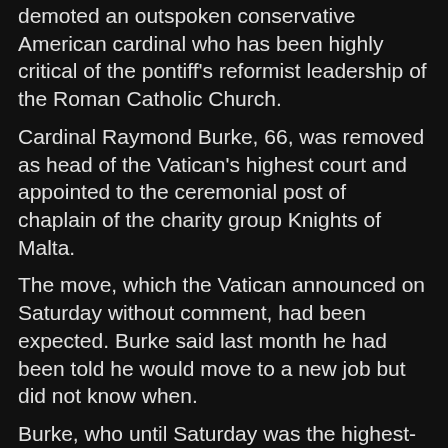demoted an outspoken conservative American cardinal who has been highly critical of the pontiff's reformist leadership of the Roman Catholic Church.
Cardinal Raymond Burke, 66, was removed as head of the Vatican's highest court and appointed to the ceremonial post of chaplain of the charity group Knights of Malta.
The move, which the Vatican announced on Saturday without comment, had been expected. Burke said last month he had been told he would move to a new job but did not know when.
Burke, who until Saturday was the highest-ranking American in the Vatican, gave a series of recent interviews criticizing the pope and had emerged as the face of conservative opposition to Francis' reform agenda.
In an interview with a Spanish magazine last month, Burke, known for his unbending interpretation of doctrine, compared the Catholic Church under Francis to "a ship without a rudder".